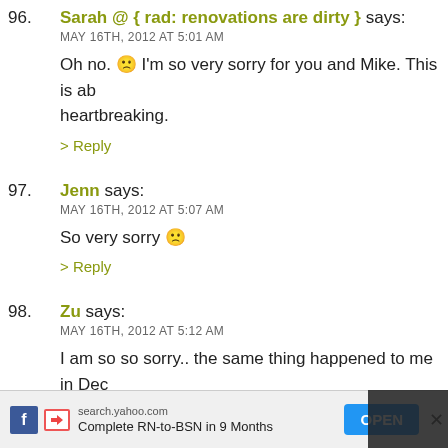96. Sarah @ { rad: renovations are dirty } says: MAY 16TH, 2012 AT 5:01 AM — Oh no. :( I'm so very sorry for you and Mike. This is ab... heartbreaking. > Reply
97. Jenn says: MAY 16TH, 2012 AT 5:07 AM — So very sorry :( > Reply
98. Zu says: MAY 16TH, 2012 AT 5:12 AM — I am so so sorry.. the same thing happened to me in Dec... first pregnancy, I was so excited for my dating scan, and no heartbeat. The baby had stopped growing the week... sorry to hear this happened to you, it's awful and heart... glad you shared... these little ones matter, even if they v...
search.yahoo.com Complete RN-to-BSN in 9 Months OPEN